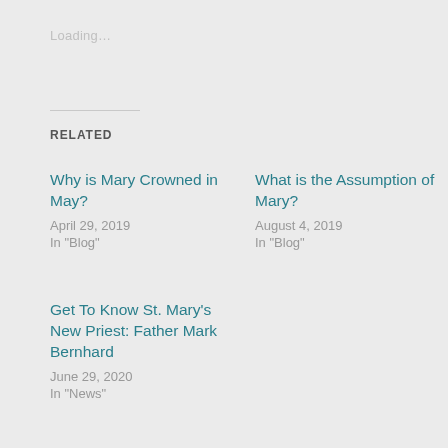Loading...
RELATED
Why is Mary Crowned in May?
April 29, 2019
In "Blog"
What is the Assumption of Mary?
August 4, 2019
In "Blog"
Get To Know St. Mary's New Priest: Father Mark Bernhard
June 29, 2020
In "News"